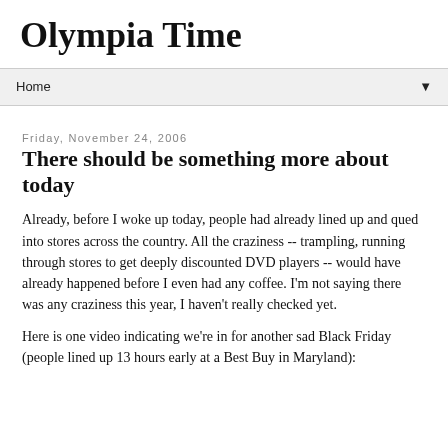Olympia Time
Home
Friday, November 24, 2006
There should be something more about today
Already, before I woke up today, people had already lined up and qued into stores across the country. All the craziness -- trampling, running through stores to get deeply discounted DVD players -- would have already happened before I even had any coffee. I'm not saying there was any craziness this year, I haven't really checked yet.
Here is one video indicating we're in for another sad Black Friday (people lined up 13 hours early at a Best Buy in Maryland):